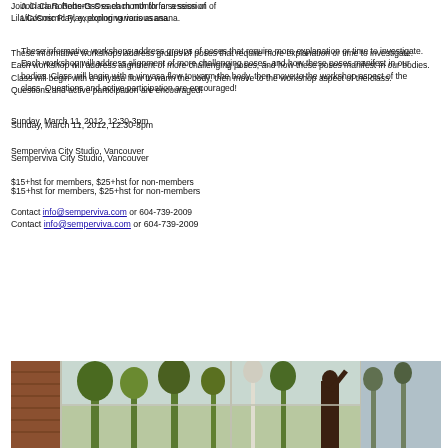Join Clara Roberts-Oss each month for a session of Lila/Cosmic Play, exploring various asana.
These informative workshops address groups of poses that require more explanation or time to investigate. Each workshop will address alignment of more challenging poses, and how these poses manifest in our bodies. Class will begin with a vinyasa flow to warm the body, then move to the workshop aspect of the class. Questions and active participation are encouraged!
Sunday, March 11, 2012, 12:30-3pm
Semperviva City Studio, Vancouver
$15+hst for members, $25+hst for non-members
Contact info@semperviva.com or 604-739-2009
[Figure (photo): A yoga studio interior with large windows overlooking trees, showing a person in a yoga pose]